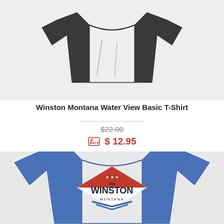[Figure (photo): Dark gray basic t-shirt product photo on light gray background, showing folded/laid flat shirt from above]
Winston Montana Water View Basic T-Shirt
$22.00 (strikethrough original price)
SALE $ 12.95
[Figure (photo): Blue heathered t-shirt with Winston Montana diamond logo design featuring red, white, and blue colors, stars, and text reading 1889 WINSTON MONTANA]